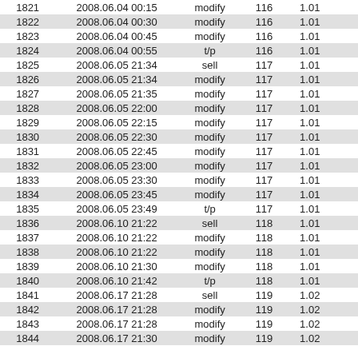| 1821 | 2008.06.04 00:15 | modify | 116 | 1.01 |  |
| 1822 | 2008.06.04 00:30 | modify | 116 | 1.01 |  |
| 1823 | 2008.06.04 00:45 | modify | 116 | 1.01 |  |
| 1824 | 2008.06.04 00:55 | t/p | 116 | 1.01 |  |
| 1825 | 2008.06.05 21:34 | sell | 117 | 1.01 |  |
| 1826 | 2008.06.05 21:34 | modify | 117 | 1.01 |  |
| 1827 | 2008.06.05 21:35 | modify | 117 | 1.01 |  |
| 1828 | 2008.06.05 22:00 | modify | 117 | 1.01 |  |
| 1829 | 2008.06.05 22:15 | modify | 117 | 1.01 |  |
| 1830 | 2008.06.05 22:30 | modify | 117 | 1.01 |  |
| 1831 | 2008.06.05 22:45 | modify | 117 | 1.01 |  |
| 1832 | 2008.06.05 23:00 | modify | 117 | 1.01 |  |
| 1833 | 2008.06.05 23:30 | modify | 117 | 1.01 |  |
| 1834 | 2008.06.05 23:45 | modify | 117 | 1.01 |  |
| 1835 | 2008.06.05 23:49 | t/p | 117 | 1.01 |  |
| 1836 | 2008.06.10 21:22 | sell | 118 | 1.01 |  |
| 1837 | 2008.06.10 21:22 | modify | 118 | 1.01 |  |
| 1838 | 2008.06.10 21:22 | modify | 118 | 1.01 |  |
| 1839 | 2008.06.10 21:30 | modify | 118 | 1.01 |  |
| 1840 | 2008.06.10 21:42 | t/p | 118 | 1.01 |  |
| 1841 | 2008.06.17 21:28 | sell | 119 | 1.02 |  |
| 1842 | 2008.06.17 21:28 | modify | 119 | 1.02 |  |
| 1843 | 2008.06.17 21:28 | modify | 119 | 1.02 |  |
| 1844 | 2008.06.17 21:30 | modify | 119 | 1.02 |  |